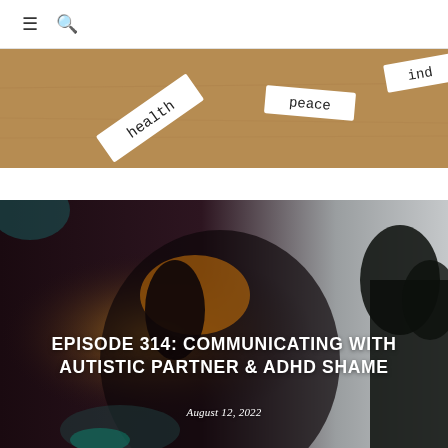☰  🔍
[Figure (photo): Close-up photo of paper word tiles on a cork/cardboard surface. Visible words include 'health', 'peace', and partial word 'ind' (likely 'mind').]
[Figure (photo): Dark moody photo of a person (silhouette with glowing hair) looking upward against a light gray sky with trees visible on the right edge. Text overlay reads 'EPISODE 314: COMMUNICATING WITH AUTISTIC PARTNER & ADHD SHAME' and 'August 12, 2022'.]
EPISODE 314: COMMUNICATING WITH AUTISTIC PARTNER & ADHD SHAME
August 12, 2022